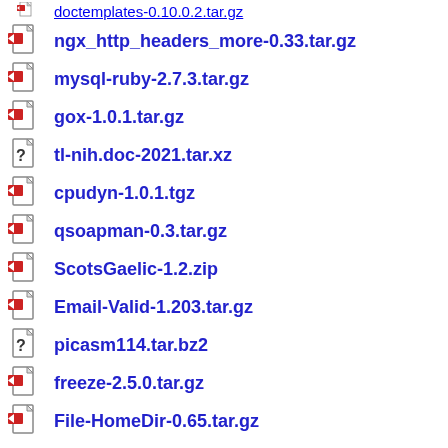ngx_http_headers_more-0.33.tar.gz
mysql-ruby-2.7.3.tar.gz
gox-1.0.1.tar.gz
tl-nih.doc-2021.tar.xz
cpudyn-1.0.1.tgz
qsoapman-0.3.tar.gz
ScotsGaelic-1.2.zip
Email-Valid-1.203.tar.gz
picasm114.tar.bz2
freeze-2.5.0.tar.gz
File-HomeDir-0.65.tar.gz